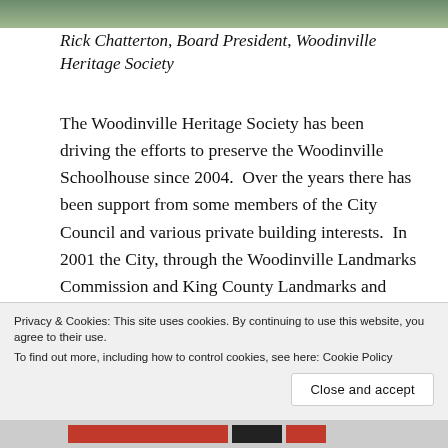[Figure (photo): Top image strip showing greenery or foliage background]
Rick Chatterton, Board President, Woodinville Heritage Society
The Woodinville Heritage Society has been driving the efforts to preserve the Woodinville Schoolhouse since 2004.  Over the years there has been support from some members of the City Council and various private building interests.  In 2001 the City, through the Woodinville Landmarks Commission and King County Landmarks and Heritage Commission, designated the building as a City of Woodinville Landmark. Recently the
Privacy & Cookies: This site uses cookies. By continuing to use this website, you agree to their use.
To find out more, including how to control cookies, see here: Cookie Policy
Close and accept